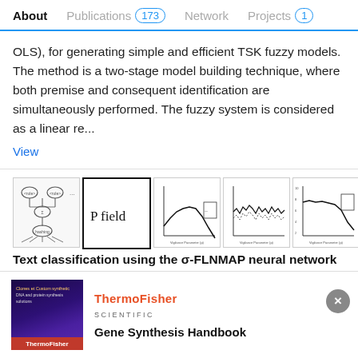About | Publications 173 | Network | Projects 1
OLS), for generating simple and efficient TSK fuzzy models. The method is a two-stage model building technique, where both premise and consequent identification are simultaneously performed. The fuzzy system is considered as a linear re...
View
[Figure (screenshot): Five thumbnail images of figures from a paper: a neural network diagram, a text box with 'P field', two line charts showing Vigilance Parameter data, and another line chart]
Text classification using the σ-FLNMAP neural network
Conference Paper
Full-text available
Feb 2001
Advertisement
[Figure (photo): ThermoFisher Scientific advertisement with purple/dark background book cover image on left and Gene Synthesis Handbook title on right]